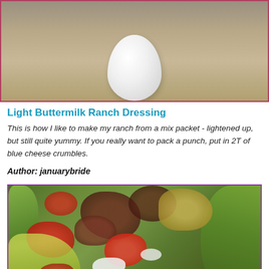[Figure (photo): Photo of a white egg or spherical object on a tan/beige surface, partially cropped at top.]
Light Buttermilk Ranch Dressing
This is how I like to make my ranch from a mix packet - lightened up, but still quite yummy. If you really want to pack a punch, put in 2T of blue cheese crumbles.
Author: januarybride
[Figure (photo): Photo of a salad with tomatoes, dark red/beet ingredients, avocado, green lettuce, and white cheese crumbles.]